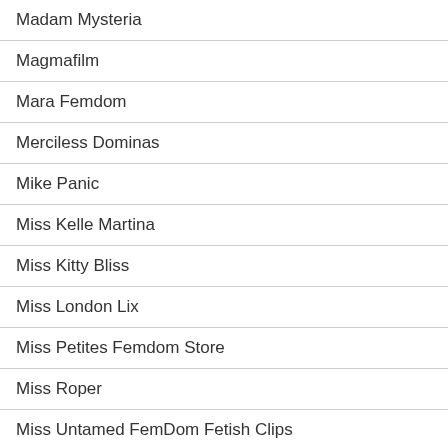Madam Mysteria
Magmafilm
Mara Femdom
Merciless Dominas
Mike Panic
Miss Kelle Martina
Miss Kitty Bliss
Miss London Lix
Miss Petites Femdom Store
Miss Roper
Miss Untamed FemDom Fetish Clips
MissPaleGirl